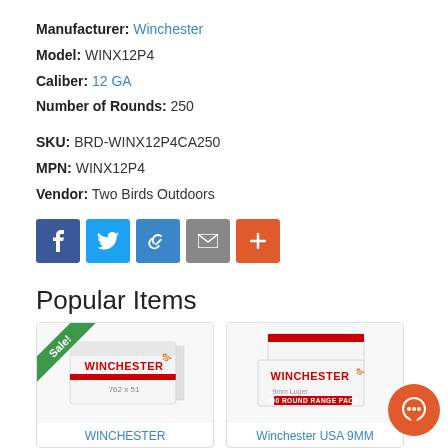Manufacturer: Winchester
Model: WINX12P4
Caliber: 12 GA
Number of Rounds: 250
SKU: BRD-WINX12P4CA250
MPN: WINX12P4
Vendor: Two Birds Outdoors
[Figure (infographic): Social share buttons: Facebook (blue), Twitter (light blue), Link (blue), Mail (gray), Plus (orange-red)]
Popular Items
[Figure (photo): Winchester ammunition box 762x51 with Sale! badge in green corner ribbon]
WINCHESTER
[Figure (photo): Winchester USA 9MM 200 Round Range Pack ammunition box]
Winchester USA 9MM